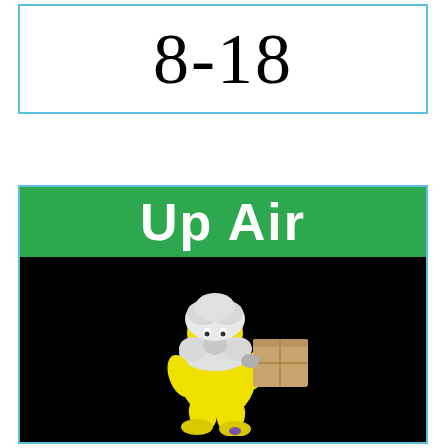8-18
[Figure (illustration): Up Air logo with green banner showing white text 'Up Air', below which is a black background with a 3D rendered yellow cartoon character carrying a brown cardboard box]